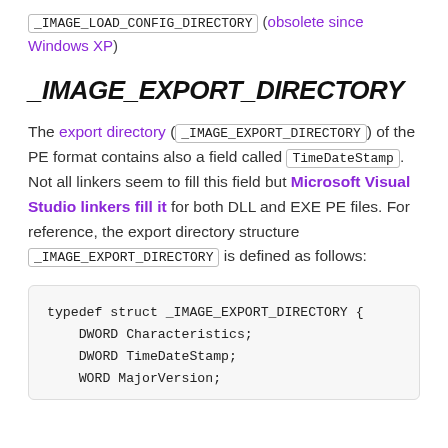_IMAGE_LOAD_CONFIG_DIRECTORY (obsolete since Windows XP)
_IMAGE_EXPORT_DIRECTORY
The export directory (_IMAGE_EXPORT_DIRECTORY) of the PE format contains also a field called TimeDateStamp. Not all linkers seem to fill this field but Microsoft Visual Studio linkers fill it for both DLL and EXE PE files. For reference, the export directory structure _IMAGE_EXPORT_DIRECTORY is defined as follows:
typedef struct _IMAGE_EXPORT_DIRECTORY {
    DWORD Characteristics;
    DWORD TimeDateStamp;
    WORD MajorVersion;